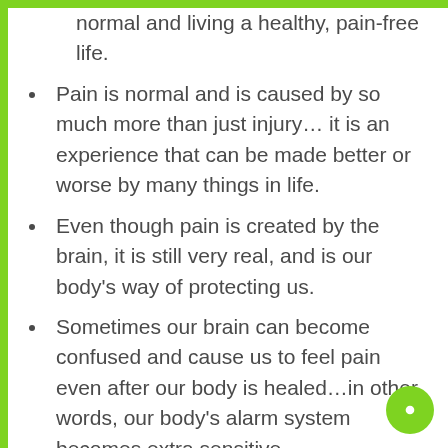normal and living a healthy, pain-free life.
Pain is normal and is caused by so much more than just injury… it is an experience that can be made better or worse by many things in life.
Even though pain is created by the brain, it is still very real, and is our body's way of protecting us.
Sometimes our brain can become confused and cause us to feel pain even after our body is healed…in other words, our body's alarm system becomes extra sensitive.